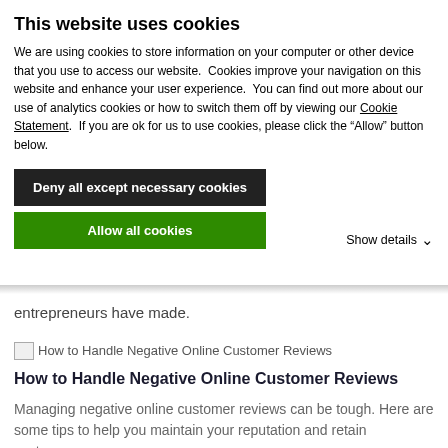This website uses cookies
We are using cookies to store information on your computer or other device that you use to access our website.  Cookies improve your navigation on this website and enhance your user experience.  You can find out more about our use of analytics cookies or how to switch them off by viewing our Cookie Statement.  If you are ok for us to use cookies, please click the “Allow” button below.
Deny all except necessary cookies
Allow all cookies
Show details
entrepreneurs have made.
[Figure (other): Broken image placeholder for article thumbnail: How to Handle Negative Online Customer Reviews]
How to Handle Negative Online Customer Reviews
Managing negative online customer reviews can be tough. Here are some tips to help you maintain your reputation and retain customers.